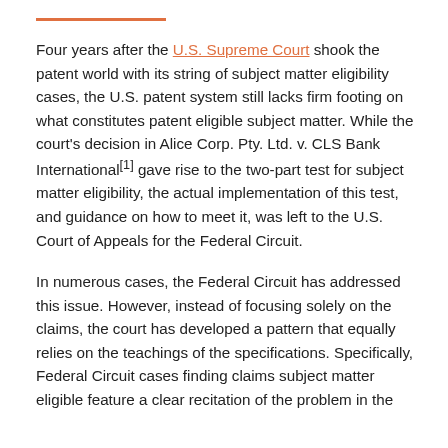Four years after the U.S. Supreme Court shook the patent world with its string of subject matter eligibility cases, the U.S. patent system still lacks firm footing on what constitutes patent eligible subject matter. While the court's decision in Alice Corp. Pty. Ltd. v. CLS Bank International[1] gave rise to the two-part test for subject matter eligibility, the actual implementation of this test, and guidance on how to meet it, was left to the U.S. Court of Appeals for the Federal Circuit.
In numerous cases, the Federal Circuit has addressed this issue. However, instead of focusing solely on the claims, the court has developed a pattern that equally relies on the teachings of the specifications. Specifically, Federal Circuit cases finding claims subject matter eligible feature a clear recitation of the problem in the